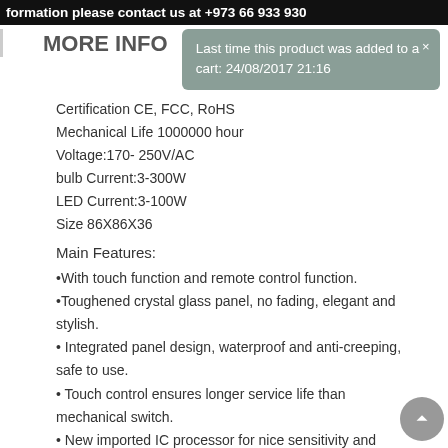formation please contact us at +973 66 933 930
MORE INFO
Last time this product was added to a cart: 24/08/2017 21:16
Certification CE, FCC, RoHS
Mechanical Life 1000000 hour
Voltage:170- 250V/AC
bulb Current:3-300W
LED Current:3-100W
Size 86X86X36
Main Features:
With touch function and remote control function.
Toughened crystal glass panel, no fading, elegant and stylish.
Integrated panel design, waterproof and anti-creeping, safe to use.
Touch control ensures longer service life than mechanical switch.
New imported IC processor for nice sensitivity and stable performance.
Prevent the occurrence of leakage and electric shock danger .
Humanized design: The switch can automatically disconnect when electricity breaks and it will be in the OFF static when electricity comes back.